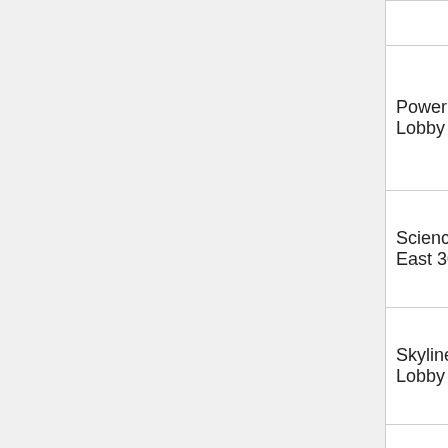| Location |  |  |  |
| --- | --- | --- | --- |
| Power Arts Lobby | ✓ | ✓ | ✓ |
| Science East 3054 | ✓ | ✓ | ✓ |
| Skyline Lobby | ✓ | ✓ | ✓ |
| Student Center by the Bookstore | ✓ | ✓ | ✓ |
| Student Center 208 | ✓ | ✓ | ✓ |
| University Hall Lobby | ✓ | ✓ | ✓ |
| Valley Road |  |  |  |